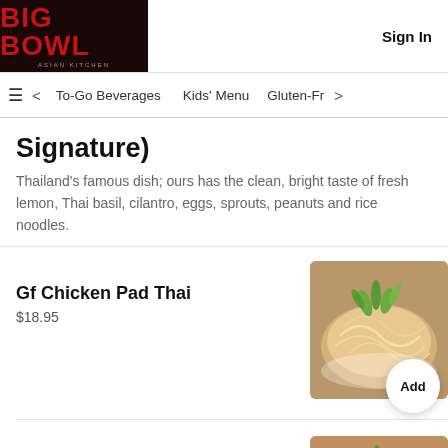[Figure (logo): Big Bowl restaurant logo with red text on dark background]
Sign In
To-Go Beverages   Kids' Menu   Gluten-Fr
Signature)
Thailand's famous dish; ours has the clean, bright taste of fresh lemon, Thai basil, cilantro, eggs, sprouts, peanuts and rice noodles.
Gf Chicken Pad Thai
$18.95
[Figure (photo): Photo of Gf Chicken Pad Thai dish with noodles, sprouts and herbs]
Gf Shrimp Pad Thai